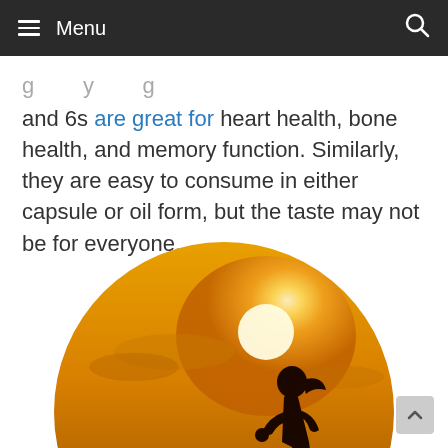Menu
and 6s are great for heart health, bone health, and memory function. Similarly, they are easy to consume in either capsule or oil form, but the taste may not be for everyone.
[Figure (photo): Silhouette of a woman running against a golden sunset sky, displayed in a circular crop.]